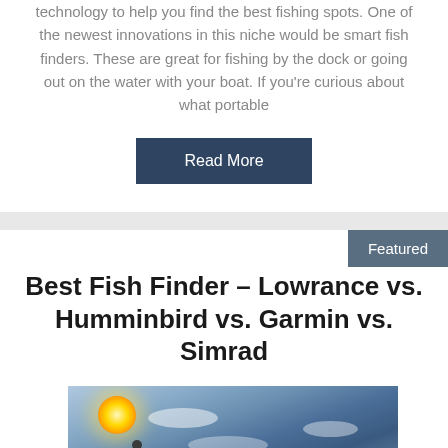Portable fish finders are always getting better and using new technology to help you find the best fishing spots. One of the newest innovations in this niche would be smart fish finders. These are great for fishing by the dock or going out on the water with your boat. If you're curious about what portable
Read More
Featured
Best Fish Finder – Lowrance vs. Humminbird vs. Garmin vs. Simrad
[Figure (photo): Outdoor lake or river scene with a person fishing, bright sun in the upper left, blue sky with clouds, calm water in the background]